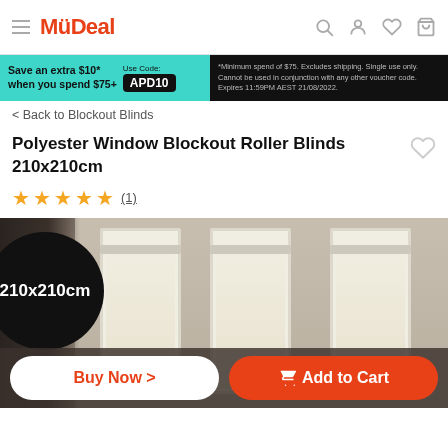MyDeal
[Figure (screenshot): Promotional banner: Save an extra $10 when you spend $75+, Use Code: APD10. Terms: Minimum spend of $75. Excludes shipping. Single use only. Cannot be used in conjunction with any other voucher code. Expires 11:59PM AEST 21/08/2022.]
< Back to Blockout Blinds
Polyester Window Blockout Roller Blinds 210x210cm
★★★★★ (1)
[Figure (photo): Product image of blockout roller blinds installed on windows in a tan/beige room. A large black circle badge overlays the left side with text '210x210cm'. Two windows with cream/ivory roller blinds are visible.]